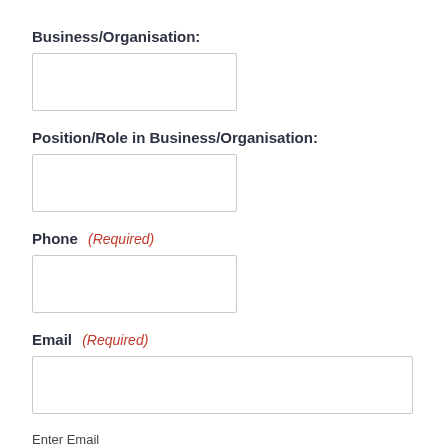Business/Organisation:
[Figure (other): Empty text input box for Business/Organisation field]
Position/Role in Business/Organisation:
[Figure (other): Empty text input box for Position/Role field]
Phone (Required)
[Figure (other): Empty text input box for Phone field]
Email (Required)
[Figure (other): Empty text input box for Email field]
Enter Email
[Figure (other): Empty text input box for Enter Email confirmation field]